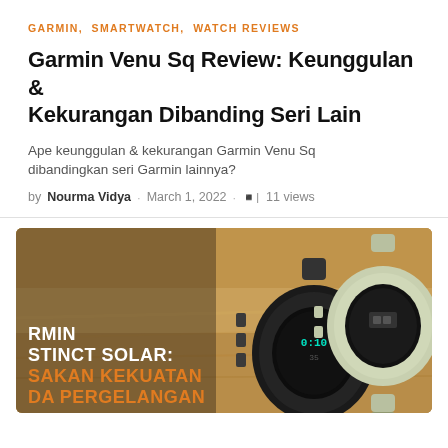GARMIN, SMARTWATCH, WATCH REVIEWS
Garmin Venu Sq Review: Keunggulan & Kekurangan Dibanding Seri Lain
Ape keunggulan & kekurangan Garmin Venu Sq dibandingkan seri Garmin lainnya?
by Nourma Vidya · March 1, 2022 · 11 views
[Figure (photo): Photo of two Garmin Instinct Solar rugged smartwatches on a sandy/desert background. Overlay text reads: RMIN STINCT SOLAR: SAKAN KEKUATAN DA PERGELANGAN in white and orange. White and orange text branding visible.]